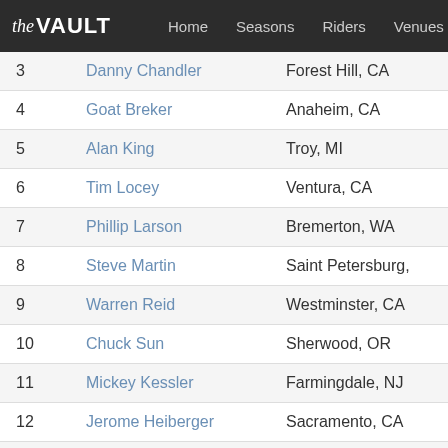the VAULT | Home | Seasons | Riders | Venues | Brands
| # | Name | Location |
| --- | --- | --- |
| 3 | Danny Chandler | Forest Hill, CA |
| 4 | Goat Breker | Anaheim, CA |
| 5 | Alan King | Troy, MI |
| 6 | Tim Locey | Ventura, CA |
| 7 | Phillip Larson | Bremerton, WA |
| 8 | Steve Martin | Saint Petersburg, |
| 9 | Warren Reid | Westminster, CA |
| 10 | Chuck Sun | Sherwood, OR |
| 11 | Mickey Kessler | Farmingdale, NJ |
| 12 | Jerome Heiberger | Sacramento, CA |
| 13 | Andy Stacy | Depew, NY |